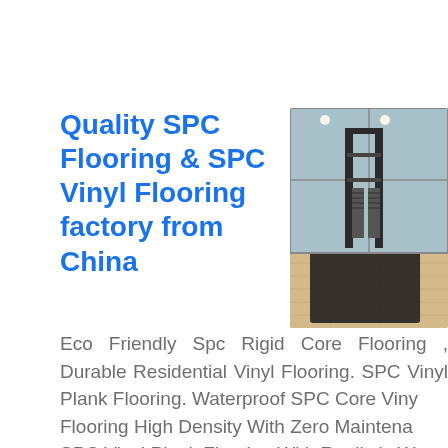Quality SPC Flooring & SPC Vinyl Flooring factory from China
[Figure (photo): Interior room with SPC vinyl plank flooring installed, showing gym equipment on a dark mat with light wood-look flooring visible]
Eco Friendly Spc Rigid Core Flooring , Durable Residential Vinyl Flooring. SPC Vinyl Plank Flooring. Waterproof SPC Core Vinyl Flooring High Density With Zero Maintenance. SPC Vinyl Plank Flooring With Realistic Wood Stone Looks. Wood Grain SPC Vinyl Plank Environmental Protection SGS Approved. Vinyl ...
Get price